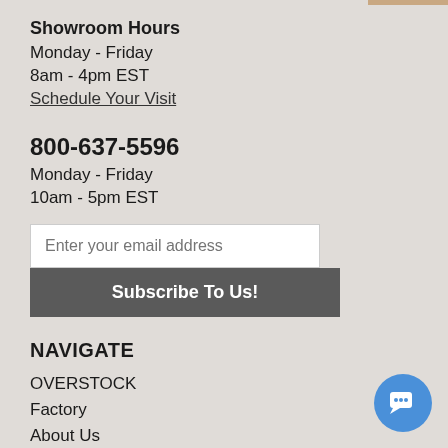Showroom Hours
Monday - Friday
8am - 4pm EST
Schedule Your Visit
800-637-5596
Monday - Friday
10am - 5pm EST
Enter your email address
Subscribe To Us!
NAVIGATE
OVERSTOCK
Factory
About Us
Showroom
800-637-5596